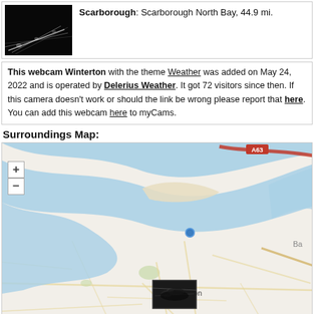[Figure (photo): Night webcam image showing a road or bridge with light trails, black and white infrared style image from Scarborough North Bay webcam]
Scarborough: Scarborough North Bay, 44.9 mi.
This webcam Winterton with the theme Weather was added on May 24, 2022 and is operated by Delerius Weather. It got 72 visitors since then. If this camera doesn't work or should the link be wrong please report that here. You can add this webcam here to myCams.
Surroundings Map:
[Figure (map): OpenStreetMap showing surroundings of Winterton webcam location. Shows River Humber estuary area with blue water, roads including A63, yellow road markers, a blue location dot, and a small webcam thumbnail overlay near Winterton label. Zoom +/- buttons visible top left.]